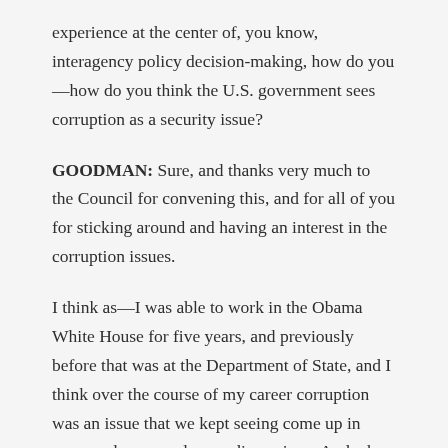experience at the center of, you know, interagency policy decision-making, how do you—how do you think the U.S. government sees corruption as a security issue?
GOODMAN: Sure, and thanks very much to the Council for convening this, and for all of you for sticking around and having an interest in the corruption issues.
I think as—I was able to work in the Obama White House for five years, and previously before that was at the Department of State, and I think over the course of my career corruption was an issue that we kept seeing come up in more and more and more discussions. And when the conversations first started.